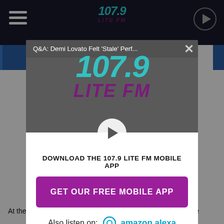[Figure (screenshot): 107.9 Lite FM radio station website screenshot showing a modal popup overlay. The modal contains the 107.9 Lite FM logo, a video title bar reading 'Q&A: Demi Lovato Felt Stale Perf...', a play button, download app text, a purple 'GET OUR FREE MOBILE APP' button, and 'Also listen on: amazon alexa' text. Background shows the website header and partial article text reading 'At the 2:47 mark, we see the one and only Snoop Dogg make'.]